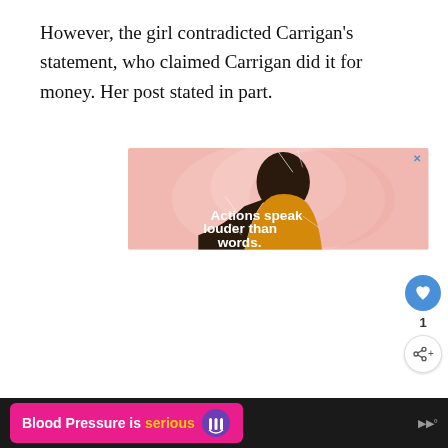However, the girl contradicted Carrigan's statement, who claimed Carrigan did it for money. Her post stated in part.
[Figure (illustration): Advertisement illustration showing a young Black man from behind/side profile wearing a yellow turtleneck, with pink abstract background and white text reading 'Actions speak louder than words.' A blue X close button appears in the top right corner.]
[Figure (infographic): Bottom banner advertisement on dark background with pink rounded rectangle containing 'Blood Pressure is serious' text with a purple heart-with-lines logo icon.]